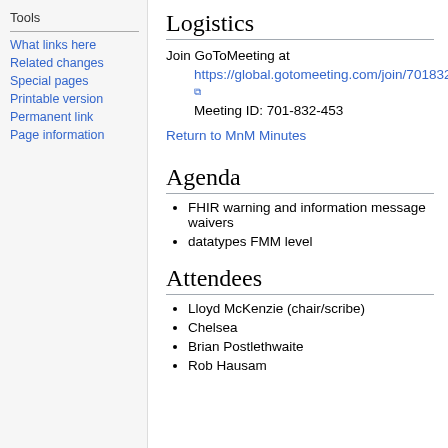Tools
What links here
Related changes
Special pages
Printable version
Permanent link
Page information
Logistics
Join GoToMeeting at
https://global.gotomeeting.com/join/701832453
Meeting ID: 701-832-453
Return to MnM Minutes
Agenda
FHIR warning and information message waivers
datatypes FMM level
Attendees
Lloyd McKenzie (chair/scribe)
Chelsea
Brian Postlethwaite
Rob Hausam